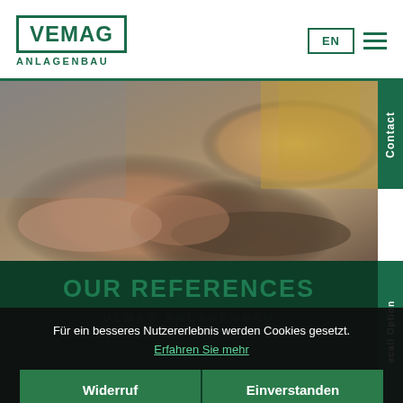[Figure (logo): VEMAG ANLAGENBAU logo — green bordered box with VEMAG text and ANLAGENBAU subtitle]
EN
[Figure (photo): Hero image showing two people shaking hands, with other people visible in the background]
Contact
OUR REFERENCES
VEMAG ANLAGENBAU
ecall Option
Für ein besseres Nutzererlebnis werden Cookies gesetzt.
Erfahren Sie mehr
Widerruf
Einverstanden